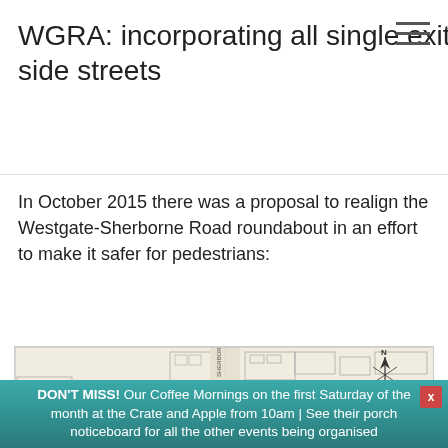WGRA: incorporating all single exit side streets
In October 2015 there was a proposal to realign the Westgate-Sherborne Road roundabout in an effort to make it safer for pedestrians:
[Figure (map): Engineering/planning map showing the Westgate-Sherborne Road roundabout realignment proposal. The map shows road layouts, buildings (numbered plots), a central island with raised areas, bus level raised tables, low level raised tables, and a north arrow. Pink/red hatched areas indicate proposed changes including a drop-kerb central island with textured setts. Roads labeled include Sherborne Road and Westgate.]
DON'T MISS! Our Coffee Mornings on the first Saturday of the month at the Crate and Apple from 10am | See their porch noticeboard for all the other events being organised